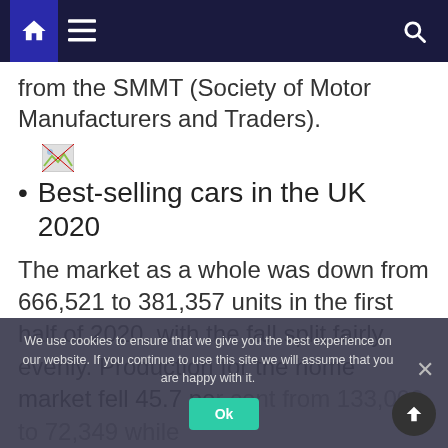Navigation bar with home, menu, and search icons
from the SMMT (Society of Motor Manufacturers and Traders).
[Figure (photo): Small broken image placeholder icon]
Best-selling cars in the UK 2020
The market as a whole was down from 666,521 to 381,357 units in the first half of 2020, with the fall split fairly evenly. Production for the home market fell 45.7 per cent from 133,000 to 72,349 while the export market also dropped 42.1 per cent from 533,321 to 309,...
We use cookies to ensure that we give you the best experience on our website. If you continue to use this site we will assume that you are happy with it.